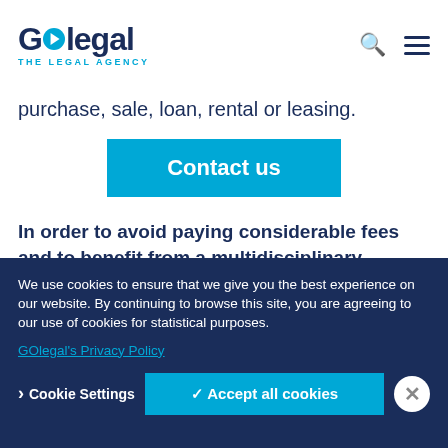GOlegal THE LEGAL AGENCY
purchase, sale, loan, rental or leasing.
Contact us
In order to avoid paying considerable fees and to benefit from a multidisciplinary approach, it is wise to call upon GOlegal. Our team of specialized lawyers has a solid
We use cookies to ensure that we give you the best experience on our website. By continuing to browse this site, you are agreeing to our use of cookies for statistical purposes.
GOlegal's Privacy Policy
Cookie Settings
✓ Accept all cookies